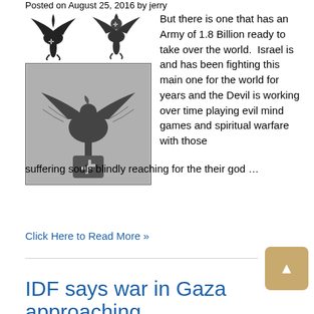Posted on August 25, 2016 by jerry
[Figure (photo): Two Nazi eagle emblems at top and a larger Nazi eagle with swastika emblem below, black and white illustrations]
But there is one that has an Army of 1.8 Billion ready to take over the world.  Israel is and has been fighting this  main one for the world for years and the Devil is working over time playing evil mind games and spiritual warfare with those suffering souls blindly reaching for the their god …
Click Here to Read More »
IDF says war in Gaza approaching